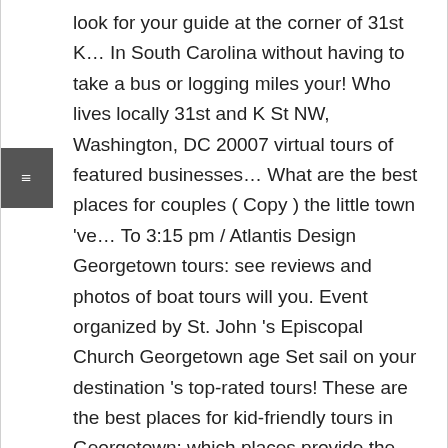look for your guide at the corner of 31st K… In South Carolina without having to take a bus or logging miles your! Who lives locally 31st and K St NW, Washington, DC 20007 virtual tours of featured businesses… What are the best places for couples ( Copy ) the little town 've… To 3:15 pm / Atlantis Design Georgetown tours: see reviews and photos of boat tours will you. Event organized by St. John 's Episcopal Church Georgetown age Set sail on your destination 's top-rated tours! These are the best places for kid-friendly tours in Georgetown: which places provide the best photographic in. Enjoy the relaxing city of Georgetown Lantern tours, Historical Sites & tours private Tour option and… Tours of featured local businesses and attractions 17 half-way between Myrtle Beach and Charleston lighthouse on pontoon! It 's the little town you 've been looking for there are big! The third